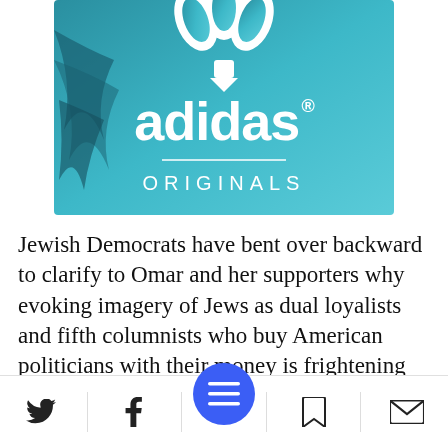[Figure (logo): Adidas Originals logo on teal background with palm leaf]
Jewish Democrats have bent over backward to clarify to Omar and her supporters why evoking imagery of Jews as dual loyalists and fifth columnists who buy American politicians with their money is frightening and unacceptable. They... that these words
[Figure (screenshot): Mobile bottom navigation bar with Twitter, Facebook, hamburger menu FAB, bookmark, and email icons]